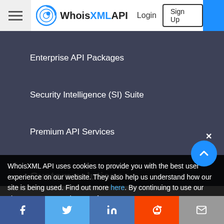WhoisXMLAPI | Login | Sign Up
Enterprise API Packages
Security Intelligence (SI) Suite
Premium API Services
Custom solutions
Registrar Whois Services
WhoisXML API uses cookies to provide you with the best user experience on our website. They also help us understand how our site is being used. Find out more here. By continuing to use our site you consent to the use of
[Figure (infographic): Social share bar with Facebook, Twitter, LinkedIn, Reddit, and Email icons]